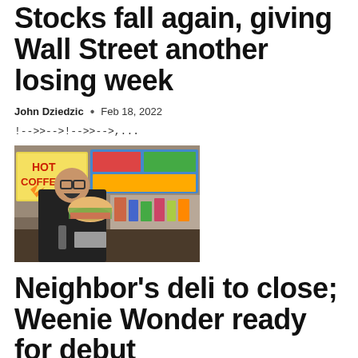Stocks fall again, giving Wall Street another losing week
John Dziedzic • Feb 18, 2022
!-->>-->!-->>-->,...
[Figure (photo): Man eating a large sandwich/burger in a deli with a HOT COFFEE sign and colorful decorations in the background]
Neighbor's deli to close; Weenie Wonder ready for debut
John Dziedzic • Feb 17, 2022